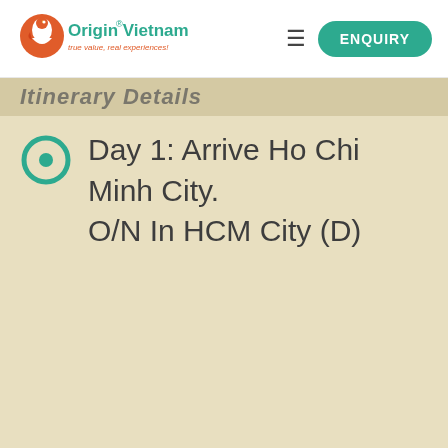[Figure (logo): Origin Vietnam logo with bird icon and tagline 'true value, real experiences!']
ENQUIRY
Itinerary Details
Day 1: Arrive Ho Chi Minh City. O/N In HCM City (D)